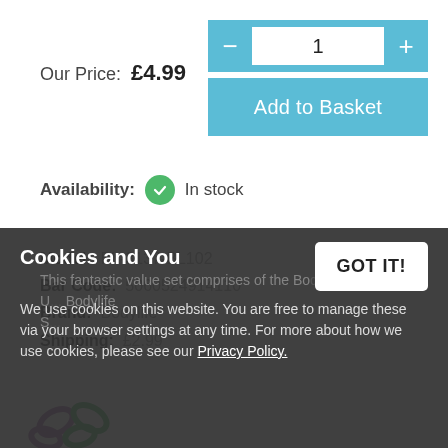Our Price: £4.99
[Figure (other): Quantity selector with minus button, input field showing 1, and plus button in light blue]
Add to Basket
Availability: In stock
Model: BL-3137-BL102
Bar Code: 5060524914110
Brand: Bodylife
Shipping: £2.99
[Figure (logo): Bodylife brand logo with purple and green swirl/butterfly shapes]
Cookies and You
We use cookies on this website. You are free to manage these via your browser settings at any time. For more about how we use cookies, please see our Privacy Policy.
GOT IT!